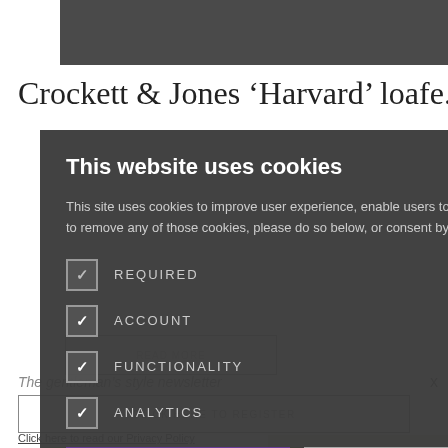[Figure (photo): Background photo of shoes/leather items at top of page]
Crockett & Jones ‘Harvard’ loafe...
This website uses cookies
This site uses cookies to improve user experience, enable users to log in, and note behaviour. If you would like to remove any of those cookies, please do so below, or consent by accepting them. Read more
REQUIRED
ACCOUNT
FUNCTIONALITY
ANALYTICS
ACCEPT ALL
DECLINE ALL
Click here to read our Privacy Policy